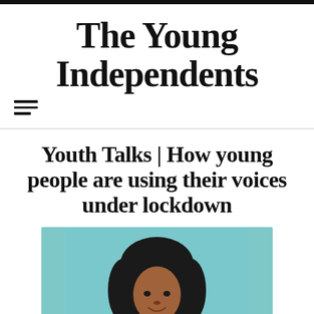The Young Independents
Youth Talks | How young people are using their voices under lockdown
[Figure (photo): Portrait photo of a young Black woman with curly hair smiling, against a light teal/blue background]